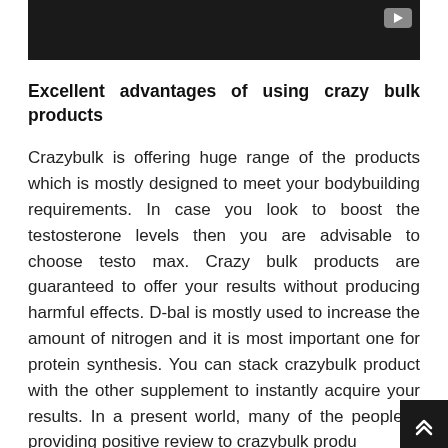[Figure (screenshot): Dark/black video player thumbnail with a YouTube-style play button in the top-right corner]
Excellent advantages of using crazy bulk products
Crazybulk is offering huge range of the products which is mostly designed to meet your bodybuilding requirements. In case you look to boost the testosterone levels then you are advisable to choose testo max. Crazy bulk products are guaranteed to offer your results without producing harmful effects. D-bal is mostly used to increase the amount of nitrogen and it is most important one for protein synthesis. You can stack crazybulk product with the other supplement to instantly acquire your results. In a present world, many of the people are providing positive review to crazybulk products